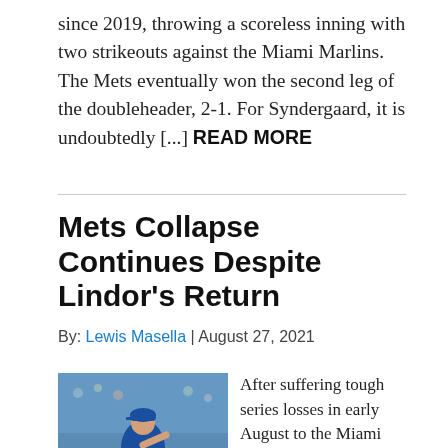since 2019, throwing a scoreless inning with two strikeouts against the Miami Marlins. The Mets eventually won the second leg of the doubleheader, 2-1. For Syndergaard, it is undoubtedly [...] READ MORE
Mets Collapse Continues Despite Lindor's Return
By: Lewis Masella | August 27, 2021
[Figure (photo): Baseball player in Mets uniform running on field with crowd in background]
After suffering tough series losses in early August to the Miami Marlins and Philadelphia Phillies, the NL East lead the New York Mets enjoyed for months had